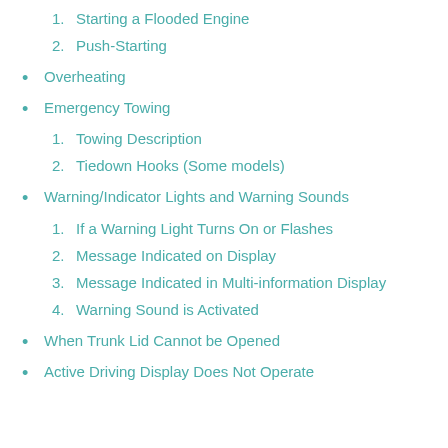1. Starting a Flooded Engine
2. Push-Starting
Overheating
Emergency Towing
1. Towing Description
2. Tiedown Hooks (Some models)
Warning/Indicator Lights and Warning Sounds
1. If a Warning Light Turns On or Flashes
2. Message Indicated on Display
3. Message Indicated in Multi-information Display
4. Warning Sound is Activated
When Trunk Lid Cannot be Opened
Active Driving Display Does Not Operate